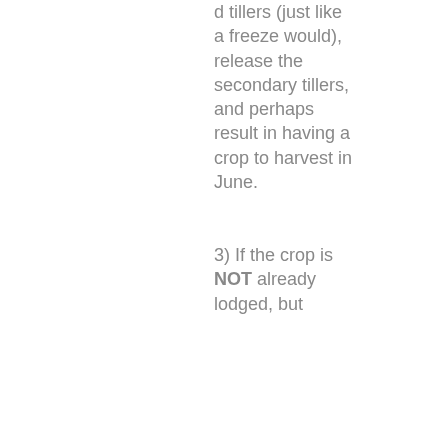d tillers (just like a freeze would), release the secondary tillers, and perhaps result in having a crop to harvest in June.

3) If the crop is NOT already lodged, but